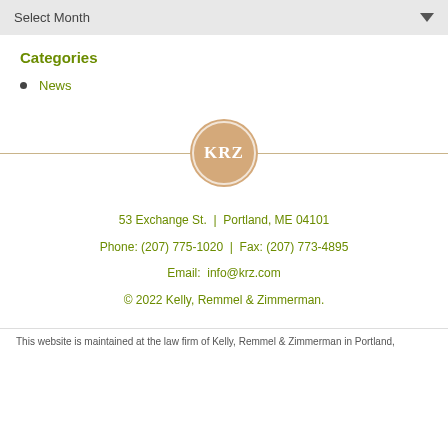Select Month
Categories
News
[Figure (logo): KRZ monogram logo inside a circle with beige/tan background and white border ring]
53 Exchange St. | Portland, ME 04101
Phone: (207) 775-1020 | Fax: (207) 773-4895
Email: info@krz.com
© 2022 Kelly, Remmel & Zimmerman.
This website is maintained at the law firm of Kelly, Remmel & Zimmerman in Portland,